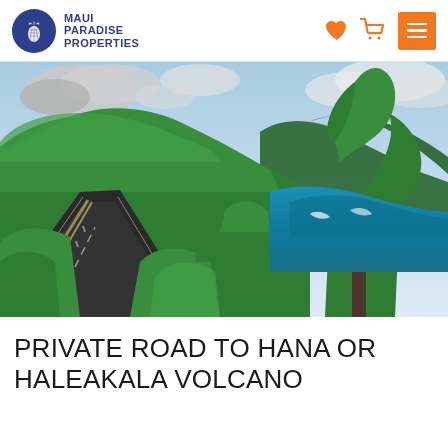MAUI PARADISE PROPERTIES
[Figure (photo): Scenic coastal road to Hana, Maui — a winding two-lane road with a guard rail on the left, lush green tropical vegetation on hillsides, and turquoise ocean visible to the right under partly cloudy skies.]
PRIVATE ROAD TO HANA OR HALEAKALA VOLCANO